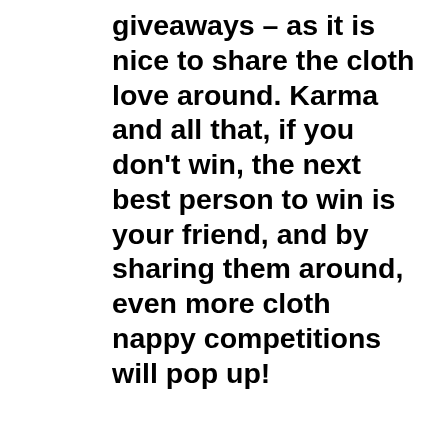giveaways – as it is nice to share the cloth love around. Karma and all that, if you don't win, the next best person to win is your friend, and by sharing them around, even more cloth nappy competitions will pop up!
In the comments section below you will see replies about currently open contests, giveaways and lucky draws in